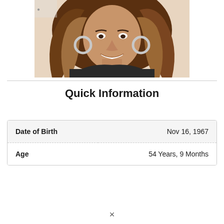[Figure (photo): Headshot photo of a woman with long wavy brunette hair with highlights, wearing large hoop earrings and a dark top, smiling broadly, photographed at an event.]
Quick Information
| Date of Birth | Nov 16, 1967 |
| Age | 54 Years, 9 Months |